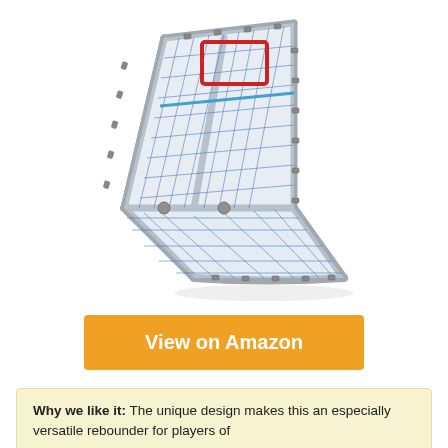[Figure (photo): A sports rebounder/rebounding net with a silver metal frame, blue netting, and a red rectangular target zone at the top. The net is angled/tilted and has spikes/clips around the edge holding the net to the frame.]
View on Amazon
Why we like it: The unique design makes this an especially versatile rebounder for players of